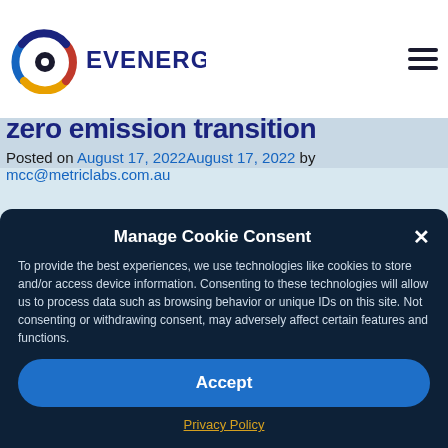[Figure (logo): EVenergi logo — circular C icon with colored arcs and text 'EVENERGI' in dark navy]
zero emission transition
Posted on August 17, 2022August 17, 2022 by mcc@metriclabs.com.au
[Figure (photo): Light blue/gray background area, likely a banner image]
Manage Cookie Consent
To provide the best experiences, we use technologies like cookies to store and/or access device information. Consenting to these technologies will allow us to process data such as browsing behavior or unique IDs on this site. Not consenting or withdrawing consent, may adversely affect certain features and functions.
Accept
Privacy Policy